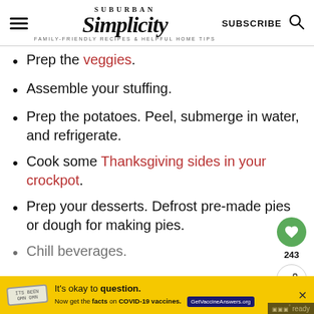Suburban Simplicity — FAMILY-FRIENDLY RECIPES & HELPFUL HOME TIPS — SUBSCRIBE
Prep the veggies.
Assemble your stuffing.
Prep the potatoes. Peel, submerge in water, and refrigerate.
Cook some Thanksgiving sides in your crockpot.
Prep your desserts. Defrost pre-made pies or dough for making pies.
Chill beverages.
It's okay to question. Now get the facts on COVID-19 vaccines. GetVaccineAnswers.org